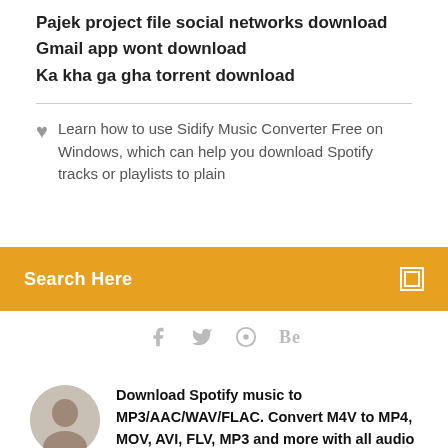Pajek project file social networks download
Gmail app wont download
Ka kha ga gha torrent download
Learn how to use Sidify Music Converter Free on Windows, which can help you download Spotify tracks or playlists to plain
Search Here
[Figure (other): Social media icons: Facebook, Twitter, dribbble, Behance]
Download Spotify music to MP3/AAC/WAV/FLAC. Convert M4V to MP4, MOV, AVI, FLV, MP3 and more with all audio tracks, subtitles, AC3 dolby 5.1 audio and
TuneKeep Spotify Music Converter can losslessly convert Spotify Music to MP3, M4A, FLAC, WAV with ID3 tags kept, help you enjoy Spotify Music on iPod